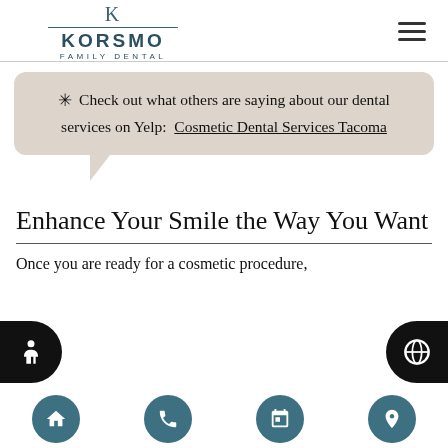[Figure (logo): Korsmo Family Dental logo with stylized K lettermark above the text KORSMO FAMILY DENTAL]
Check out what others are saying about our dental services on Yelp: Cosmetic Dental Services Tacoma
Enhance Your Smile the Way You Want
Once you are ready for a cosmetic procedure,
[Figure (infographic): Bottom navigation bar with four circular teal buttons: home icon, phone icon, calendar icon, location pin icon. Left side has black accessibility icon button, right side has black globe icon button.]